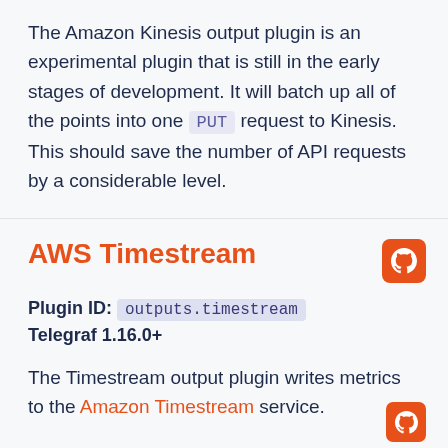The Amazon Kinesis output plugin is an experimental plugin that is still in the early stages of development. It will batch up all of the points into one PUT request to Kinesis. This should save the number of API requests by a considerable level.
AWS Timestream
Plugin ID: outputs.timestream
Telegraf 1.16.0+
The Timestream output plugin writes metrics to the Amazon Timestream service.